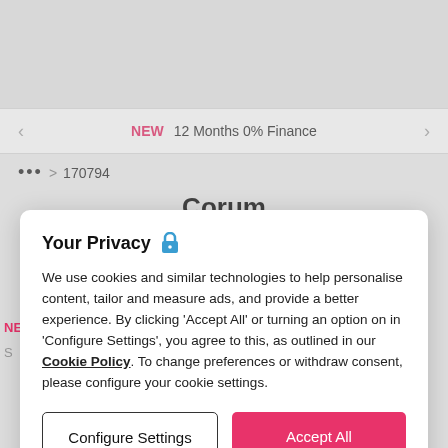[Figure (screenshot): Top grey area of a webpage]
NEW  12 Months 0% Finance
••• > 170794
Corum
Your Privacy 🔒
We use cookies and similar technologies to help personalise content, tailor and measure ads, and provide a better experience. By clicking 'Accept All' or turning an option on in 'Configure Settings', you agree to this, as outlined in our Cookie Policy. To change preferences or withdraw consent, please configure your cookie settings.
Configure Settings
Accept All